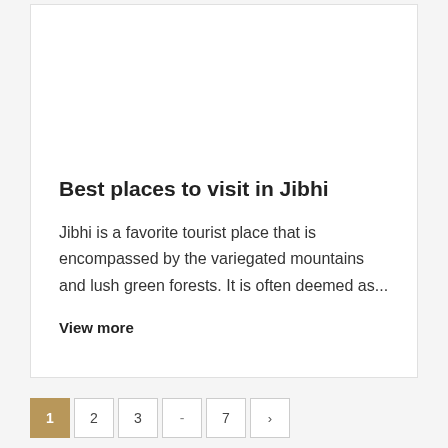Best places to visit in Jibhi
Jibhi is a favorite tourist place that is encompassed by the variegated mountains and lush green forests. It is often deemed as...
View more
Pagination: 1, 2, 3, ..., 7, >